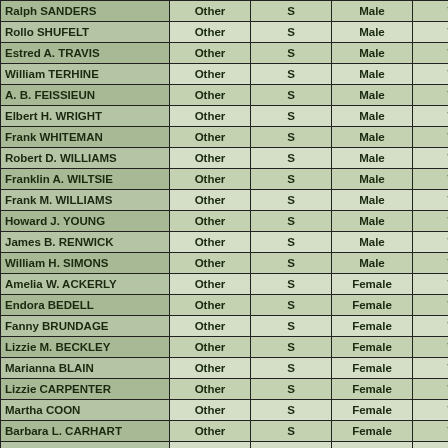| Name | Type | Status | Gender | Race |
| --- | --- | --- | --- | --- |
| Ralph SANDERS | Other | S | Male | W |
| Rollo SHUFELT | Other | S | Male | W |
| Estred A. TRAVIS | Other | S | Male | W |
| William TERHINE | Other | S | Male | W |
| A. B. FEISSIEUN | Other | S | Male | W |
| Elbert H. WRIGHT | Other | S | Male | W |
| Frank WHITEMAN | Other | S | Male | W |
| Robert D. WILLIAMS | Other | S | Male | W |
| Franklin A. WILTSIE | Other | S | Male | W |
| Frank M. WILLIAMS | Other | S | Male | W |
| Howard J. YOUNG | Other | S | Male | W |
| James B. RENWICK | Other | S | Male | W |
| William H. SIMONS | Other | S | Male | W |
| Amelia W. ACKERLY | Other | S | Female | W |
| Endora BEDELL | Other | S | Female | W |
| Fanny BRUNDAGE | Other | S | Female | W |
| Lizzie M. BECKLEY | Other | S | Female | W |
| Marianna BLAIN | Other | S | Female | W |
| Lizzie CARPENTER | Other | S | Female | W |
| Martha COON | Other | S | Female | W |
| Barbara L. CARHART | Other | S | Female | W |
| Nellie E. DANE | Other | S | Female | W |
| Jennie E. DENNISON | Other | S | Female | W |
| Carrie E. DEWITT | Other | S | Female | W |